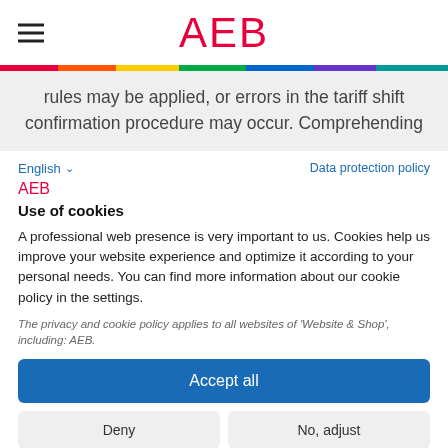AEB
rules may be applied, or errors in the tariff shift confirmation procedure may occur. Comprehending
English  Data protection policy
AEB
Use of cookies
A professional web presence is very important to us. Cookies help us improve your website experience and optimize it according to your personal needs. You can find more information about our cookie policy in the settings.
The privacy and cookie policy applies to all websites of 'Website & Shop', including: AEB.
Accept all
Deny
No, adjust